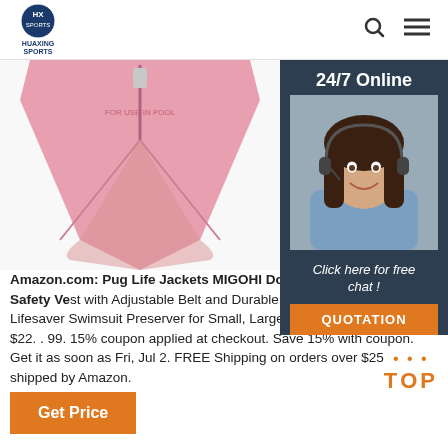HUAXING SPORTS
[Figure (photo): Pink dog life jacket / pet safety vest product photo, top-down view showing triangular shape with zipper]
[Figure (photo): 24/7 Online customer service agent - woman with headset smiling, with 'Click here for free chat!' text and QUOTATION button]
Amazon.com: Pug Life Jackets MIGOHI Dog Life Jacket Pet Safety Vest with Adjustable Belt and Durable Rescue Handle Lifesaver Swimsuit Preserver for Small, Large Dogs, Yellow L. $22.99. $22. . 99. 15% coupon applied at checkout. Save 15% with coupon. Get it as soon as Fri, Jul 2. FREE Shipping on orders over $25 shipped by Amazon.
[Figure (logo): TOP badge in orange with decorative dots above]